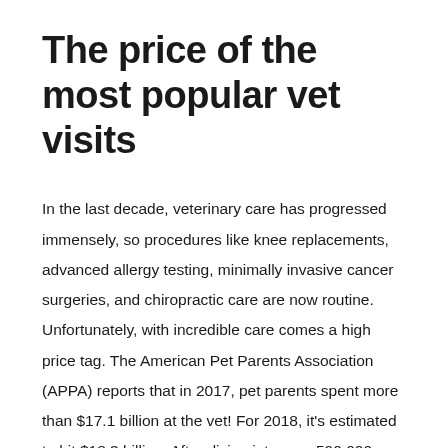The price of the most popular vet visits
In the last decade, veterinary care has progressed immensely, so procedures like knee replacements, advanced allergy testing, minimally invasive cancer surgeries, and chiropractic care are now routine. Unfortunately, with incredible care comes a high price tag. The American Pet Parents Association (APPA) reports that in 2017, pet parents spent more than $17.1 billion at the vet! For 2018, it's estimated to hit $18.3 billion. After diving into over 500,000 claims filed from June 2017 to 2018, Healthy Paws